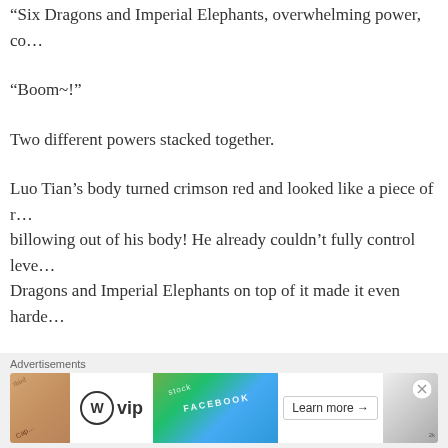“Six Dragons and Imperial Elephants, overwhelming power, co…
“Boom~!”
Two different powers stacked together.
Luo Tian’s body turned crimson red and looked like a piece of r… billowing out of his body! He already couldn’t fully control leve… Dragons and Imperial Elephants on top of it made it even harde…
But…
He was all out of options!
Ji Tongtian was too strong.
Advertisements